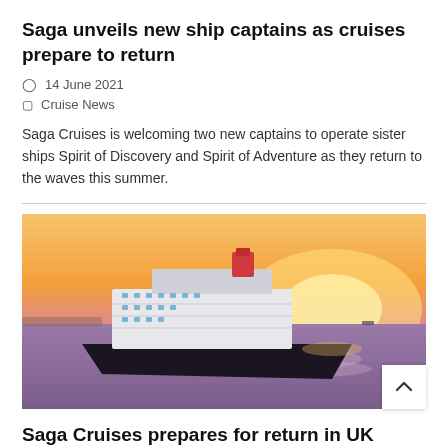Saga unveils new ship captains as cruises prepare to return
14 June 2021
Cruise News
Saga Cruises is welcoming two new captains to operate sister ships Spirit of Discovery and Spirit of Adventure as they return to the waves this summer.
[Figure (photo): A large cruise ship sailing at sunset/golden hour on calm water, with orange and pink sky in background]
Saga Cruises prepares for return in UK
8 June 2021
Cruise News